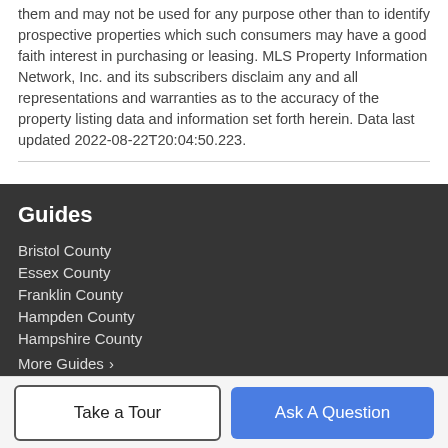them and may not be used for any purpose other than to identify prospective properties which such consumers may have a good faith interest in purchasing or leasing. MLS Property Information Network, Inc. and its subscribers disclaim any and all representations and warranties as to the accuracy of the property listing data and information set forth herein. Data last updated 2022-08-22T20:04:50.223.
Guides
Bristol County
Essex County
Franklin County
Hampden County
Hampshire County
More Guides >
Take a Tour
Ask A Question